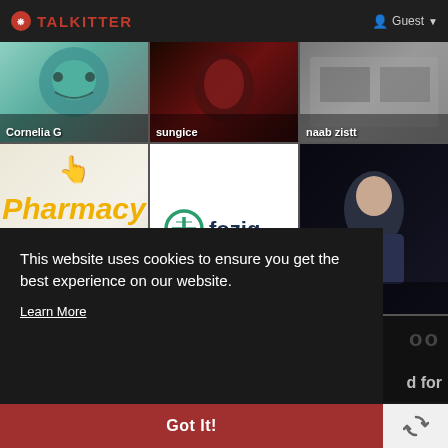TALKITTER  Guest
[Figure (screenshot): Talkitter website screenshot showing a grid of channel thumbnails including Cornelia G, sungice, naab zistt, Complete O (Pharmacy), Smart Fozi (foziq logo), Dr Manish, and partially visible row below, with a cookie consent banner overlay]
This website uses cookies to ensure you get the best experience on our website.
Learn More
Got It!